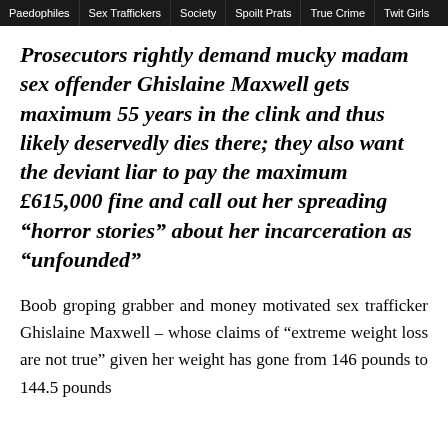Paedophiles | Sex Traffickers | Society | Spoilt Prats | True Crime | Twit Girls
Prosecutors rightly demand mucky madam sex offender Ghislaine Maxwell gets maximum 55 years in the clink and thus likely deservedly dies there; they also want the deviant liar to pay the maximum £615,000 fine and call out her spreading “horror stories” about her incarceration as “unfounded”
Boob groping grabber and money motivated sex trafficker Ghislaine Maxwell – whose claims of “extreme weight loss are not true” given her weight has gone from 146 pounds to 144.5 pounds